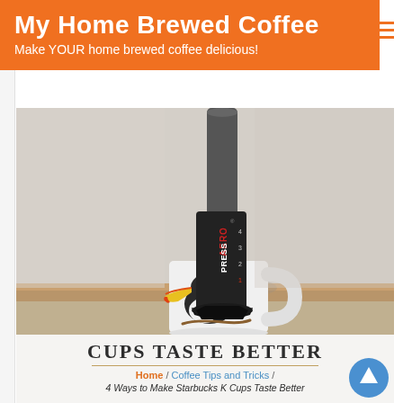My Home Brewed Coffee — Make YOUR home brewed coffee delicious!
[Figure (photo): AeroPress coffee maker sitting on top of a white ceramic mug with a toucan design, against a textured wall background with a wooden baseboard]
[Figure (screenshot): Bottom card showing 'CUPS TASTE BETTER' heading, breadcrumb navigation: Home / Coffee Tips and Tricks /, and partial article title '4 Ways to Make Starbucks K Cups Taste Better']